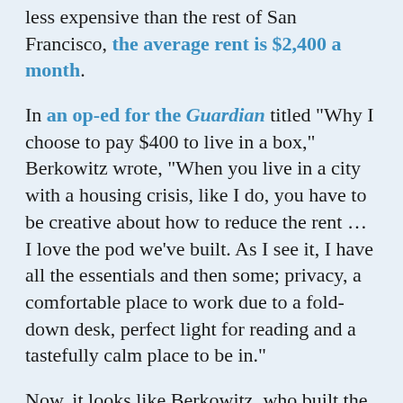less expensive than the rest of San Francisco, the average rent is $2,400 a month.
In an op-ed for the Guardian titled "Why I choose to pay $400 to live in a box," Berkowitz wrote, "When you live in a city with a housing crisis, like I do, you have to be creative about how to reduce the rent … I love the pod we've built. As I see it, I have all the essentials and then some; privacy, a comfortable place to work due to a fold-down desk, perfect light for reading and a tastefully calm place to be in."
Now, it looks like Berkowitz, who built the original pod with designer Stan Kim, woodworker Jeff Goodwin and others, is expanding his horizons beyond illustration.